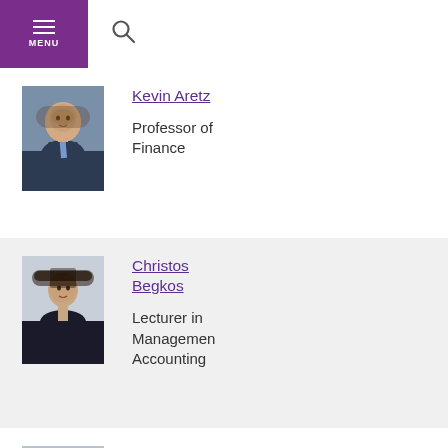MENU (navigation bar with search icon)
Kevin Aretz — Professor of Finance
[Figure (photo): Headshot photo of Kevin Aretz, a man in a suit and tie, smiling]
Kevin Aretz
Professor of Finance
[Figure (photo): Headshot photo of Christos Begkos, a young man in a dark jacket]
Christos Begkos
Lecturer in Management Accounting
[Figure (photo): Headshot photo of Michael Bowe, an older man, partially visible]
Michael Bowe
Emeritus Professor of